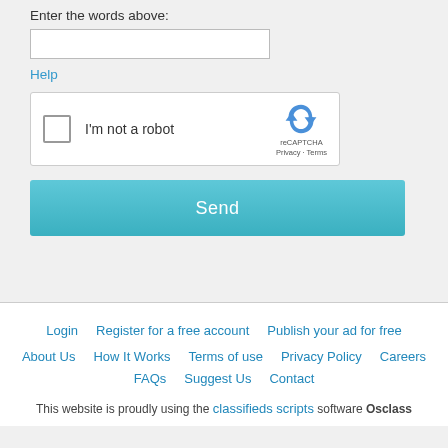Enter the words above:
[Figure (screenshot): Text input field for CAPTCHA entry]
Help
[Figure (screenshot): reCAPTCHA widget with checkbox 'I'm not a robot' and reCAPTCHA logo]
Send
Login
Register for a free account
Publish your ad for free
About Us
How It Works
Terms of use
Privacy Policy
Careers
FAQs
Suggest Us
Contact
This website is proudly using the classifieds scripts software Osclass